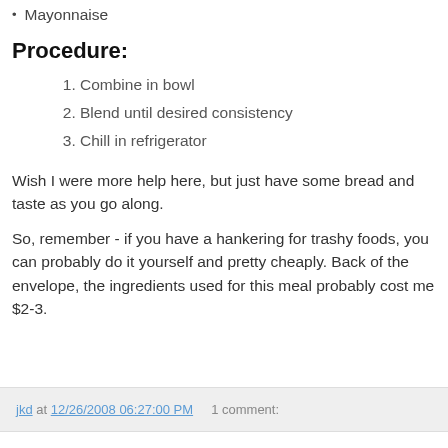Mayonnaise
Procedure:
1. Combine in bowl
2. Blend until desired consistency
3. Chill in refrigerator
Wish I were more help here, but just have some bread and taste as you go along.
So, remember - if you have a hankering for trashy foods, you can probably do it yourself and pretty cheaply. Back of the envelope, the ingredients used for this meal probably cost me $2-3.
jkd at 12/26/2008 06:27:00 PM    1 comment: